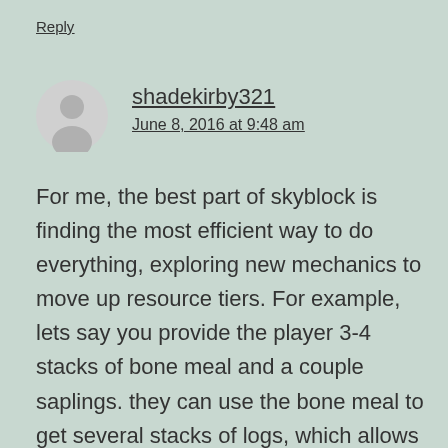Reply
shadekirby321
June 8, 2016 at 9:48 am
For me, the best part of skyblock is finding the most efficient way to do everything, exploring new mechanics to move up resource tiers. For example, lets say you provide the player 3-4 stacks of bone meal and a couple saplings. they can use the bone meal to get several stacks of logs, which allows them to build a mob farm. Now lets add the mechanic of